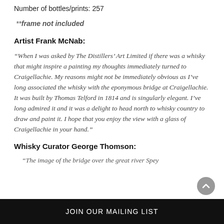Number of bottles/prints: 257
**frame not included
Artist Frank McNab:
“When I was asked by The Distillers’ Art Limited if there was a whisky that might inspire a painting my thoughts immediately turned to Craigellachie. My reasons might not be immediately obvious as I’ve long associated the whisky with the eponymous bridge at Craigellachie. It was built by Thomas Telford in 1814 and is singularly elegant. I’ve long admired it and it was a delight to head north to whisky country to draw and paint it. I hope that you enjoy the view with a glass of Craigellachie in your hand.”
Whisky Curator George Thomson:
“The image of the bridge over the great river Spey
JOIN OUR MAILING LIST